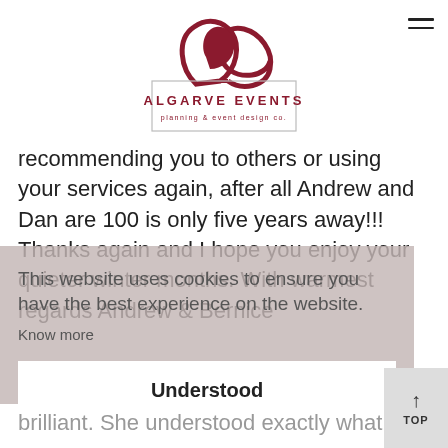[Figure (logo): Algarve Events logo with stylized 'ae' monogram above text 'ALGARVE EVENTS planning & event design co.' inside a rectangular border]
recommending you to others or using your services again, after all Andrew and Dan are 100 is only five years away!!! Thanks again and I hope you enjoy your quieter winter months. With warmest regards Andrew & Bernice
This website uses cookies to ensure you have the best experience on the website.
Know more
Understood
brilliant. She understood exactly what we